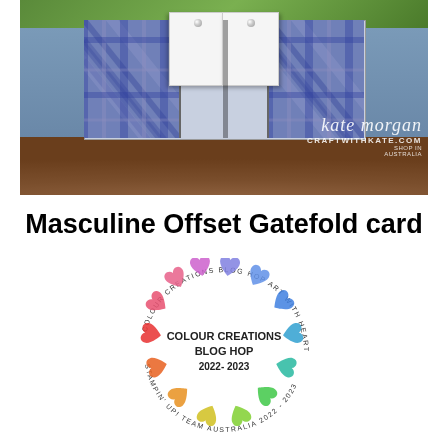[Figure (photo): Photo of a masculine offset gatefold handmade card with blue plaid patterned paper panels and white inset panels with pearl brads, displayed on a wooden surface. Watermark reads 'kate morgan craftwithkate.com shop in australia'.]
Masculine Offset Gatefold card
[Figure (logo): Colour Creations Blog Hop 2022-2023 circular logo with watercolor rainbow hearts arranged in a circle around the text 'COLOUR CREATIONS BLOG HOP 2022-2023'. Circular text reads 'COLOUR CREATIONS BLOG HOP' and 'ART WITH HEART STAMPIN' UP! TEAM AUSTRALIA' and '2022-2023'.]